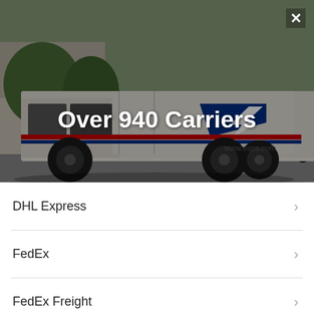[Figure (photo): A USPS mail delivery truck (white with red and blue stripe) parked on a residential street. Text 'Over 940 Carriers' overlaid in white bold text at center. A close (X) button is visible in the top-right corner.]
DHL Express
FedEx
FedEx Freight